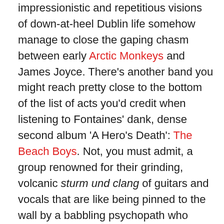impressionistic and repetitious visions of down-at-heel Dublin life somehow manage to close the gaping chasm between early Arctic Monkeys and James Joyce. There's another band you might reach pretty close to the bottom of the list of acts you'd credit when listening to Fontaines' dank, dense second album 'A Hero's Death': The Beach Boys. Not, you must admit, a group renowned for their grinding, volcanic sturm und clang of guitars and vocals that are like being pinned to the wall by a babbling psychopath who thinks he's Brendan Behan. "Ba-ba-ba-ba-Barbara Ann" and Bermuda shorts this decidedly is not.
Yet it's the Beach Boys – you heard – that the band